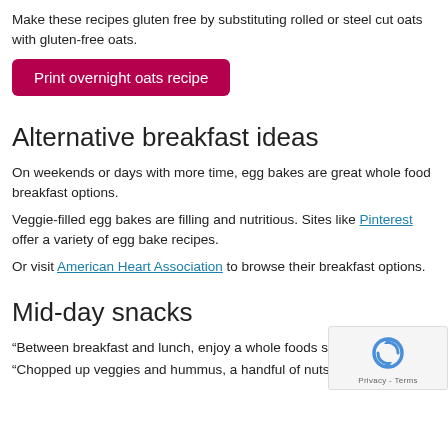Make these recipes gluten free by substituting rolled or steel cut oats with gluten-free oats.
Print overnight oats recipe
Alternative breakfast ideas
On weekends or days with more time, egg bakes are great whole food breakfast options.
Veggie-filled egg bakes are filling and nutritious. Sites like Pinterest offer a variety of egg bake recipes.
Or visit American Heart Association to browse their breakfast options.
Mid-day snacks
“Between breakfast and lunch, enjoy a whole foods snack,”
“Chopped up veggies and hummus, a handful of nuts, or string